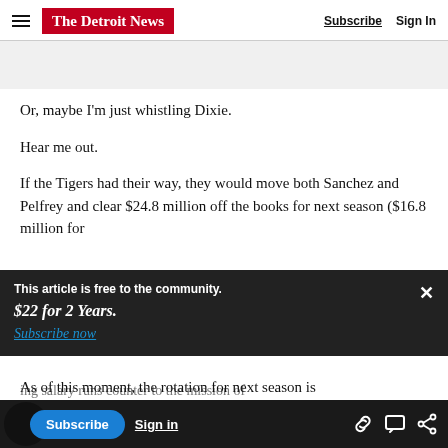The Detroit News — Subscribe | Sign In
Or, maybe I'm just whistling Dixie.
Hear me out.
If the Tigers had their way, they would move both Sanchez and Pelfrey and clear $24.8 million off the books for next season ($16.8 million for
This article is free to the community. $22 for 2 Years. Subscribe now
ing salary runs counter to the mission of
As of this moment, the rotation for next season is